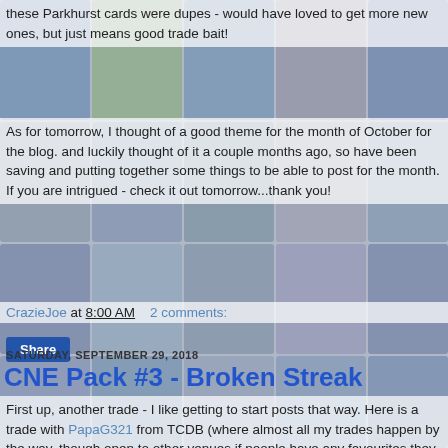[Figure (photo): Background collage of hockey and baseball trading cards]
these Parkhurst cards were dupes - would have loved to get more new ones, but just means good trade bait!
As for tomorrow, I thought of a good theme for the month of October for the blog. and luckily thought of it a couple months ago, so have been saving and putting together some things to be able to post for the month. If you are intrigued - check it out tomorrow...thank you!
CrazieJoe at 8:00 AM   2 comments:
Share
SATURDAY, SEPTEMBER 29, 2018
CNE Pack #3 - Broken Streak
First up, another trade - I like getting to start posts that way. Here is a trade with PapaG321 from TCDB (where almost all my trades happen by the way, though open to other venues if people have any favourites they would like to share in the comments).